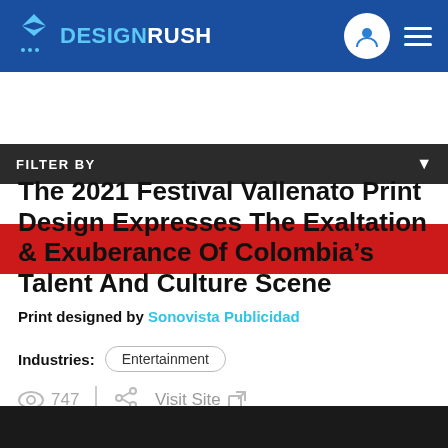DESIGNRUSH
FILTER BY
[Figure (photo): Red background image strip at top of article]
The 2021 Festival Vallenato Print Design Expresses The Exaltation & Exuberance Of Colombia's Talent And Culture Scene
Print designed by Sonovista Publicidad
Industries: Entertainment
747  Visit Site
[Figure (photo): Dark image strip at the bottom of the page]